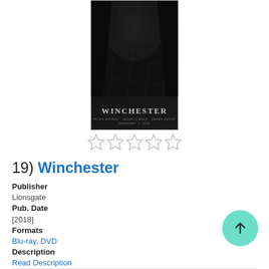[Figure (photo): Winchester movie poster — dark horror image of a veiled face, with title 'WINCHESTER' at the bottom]
[Figure (other): Five empty star rating icons]
19) Winchester
Publisher
Lionsgate
Pub. Date
[2018]
Formats
Blu-ray, DVD
Description
Read Description